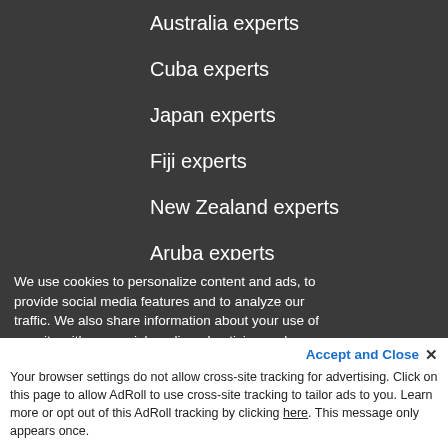Australia experts
Cuba experts
Japan experts
Fiji experts
New Zealand experts
Aruba experts
Jamaica experts
View More >
Agents by Interest
All-Inclusive specialists
We use cookies to personalize content and ads, to provide social media features and to analyze our traffic. We also share information about your use of our site with our social media, advertising and analytics partners. View our
Your browser settings do not allow cross-site tracking for advertising. Click on this page to allow AdRoll to use cross-site tracking to tailor ads to you. Learn more or opt out of this AdRoll tracking by clicking here. This message only appears once.